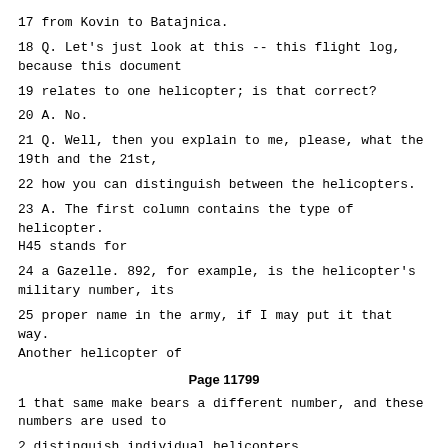17 from Kovin to Batajnica.
18 Q. Let's just look at this -- this flight log, because this document
19 relates to one helicopter; is that correct?
20 A. No.
21 Q. Well, then you explain to me, please, what the 19th and the 21st,
22 how you can distinguish between the helicopters.
23 A. The first column contains the type of helicopter. H45 stands for
24 a Gazelle. 892, for example, is the helicopter's military number, its
25 proper name in the army, if I may put it that way. Another helicopter of
Page 11799
1 that same make bears a different number, and these numbers are used to
2 distinguish individual helicopters.
3 Q. So if we're looking at the 19th of November by way